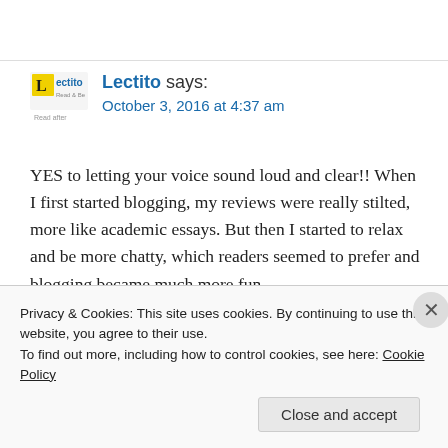[Figure (logo): Lectito blog logo — yellow square with 'L' and text 'Lectito' below]
Lectito says:
October 3, 2016 at 4:37 am
YES to letting your voice sound loud and clear!! When I first started blogging, my reviews were really stilted, more like academic essays. But then I started to relax and be more chatty, which readers seemed to prefer and blogging became much more fun.
Privacy & Cookies: This site uses cookies. By continuing to use this website, you agree to their use.
To find out more, including how to control cookies, see here: Cookie Policy
Close and accept